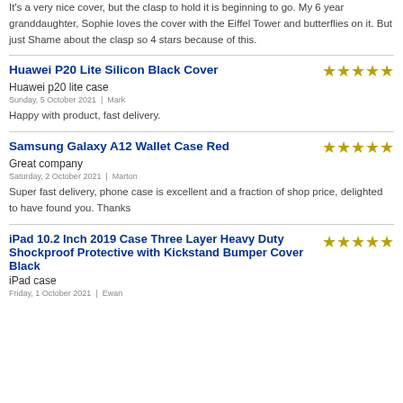It's a very nice cover, but the clasp to hold it is beginning to go. My 6 year granddaughter, Sophie loves the cover with the Eiffel Tower and butterflies on it. But just Shame about the clasp so 4 stars because of this.
Huawei P20 Lite Silicon Black Cover
Huawei p20 lite case
Sunday, 5 October 2021  |  Mark
Happy with product, fast delivery.
Samsung Galaxy A12 Wallet Case Red
Great company
Saturday, 2 October 2021  |  Marton
Super fast delivery, phone case is excellent and a fraction of shop price, delighted to have found you. Thanks
iPad 10.2 Inch 2019 Case Three Layer Heavy Duty Shockproof Protective with Kickstand Bumper Cover Black
iPad case
Friday, 1 October 2021  |  Ewan